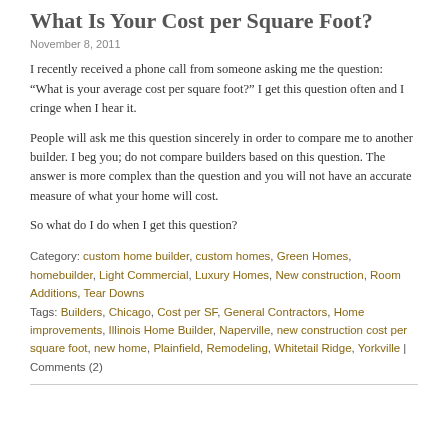What Is Your Cost per Square Foot?
November 8, 2011
I recently received a phone call from someone asking me the question: “What is your average cost per square foot?” I get this question often and I cringe when I hear it.
People will ask me this question sincerely in order to compare me to another builder. I beg you; do not compare builders based on this question. The answer is more complex than the question and you will not have an accurate measure of what your home will cost.
So what do I do when I get this question?
Category: custom home builder, custom homes, Green Homes, homebuilder, Light Commercial, Luxury Homes, New construction, Room Additions, Tear Downs
Tags: Builders, Chicago, Cost per SF, General Contractors, Home improvements, Illinois Home Builder, Naperville, new construction cost per square foot, new home, Plainfield, Remodeling, Whitetail Ridge, Yorkville | Comments (2)